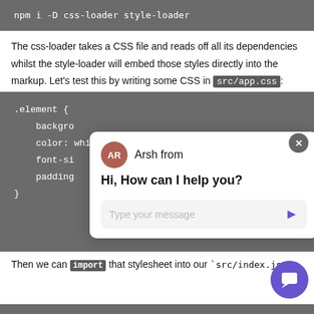npm i -D css-loader style-loader
The css-loader takes a CSS file and reads off all its dependencies whilst the style-loader will embed those styles directly into the markup. Let's test this by writing some CSS in src/app.css:
.element {
    background
    color: white;
    font-si
    padding
}
Then we can import that stylesheet into our `src/index.js
[Figure (screenshot): Chat widget overlay showing 'Arsh from' with avatar AR, message 'Hi, How can I help you?' and a text input field with placeholder 'Type your message' and a send button (purple arrow). A close button (x) appears top right.]